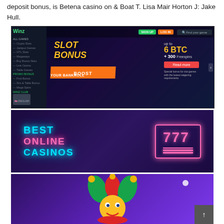deposit bonus, is Betena casino on & Boat T. Lisa Mair Horton J: Jake Hull.
[Figure (screenshot): Screenshot of Winz casino website showing a 'Slot Bonus Boost Your Bankroll' promotional banner with up to 6 BTC + 300 Freespins offer, with navigation menu on the left.]
[Figure (screenshot): Promotional banner with neon-style text reading 'BEST ONLINE CASINOS' with a neon 777 slot machine icon on a dark purple background.]
[Figure (screenshot): Partial screenshot showing a jester/joker character in a casino-themed image with purple background.]